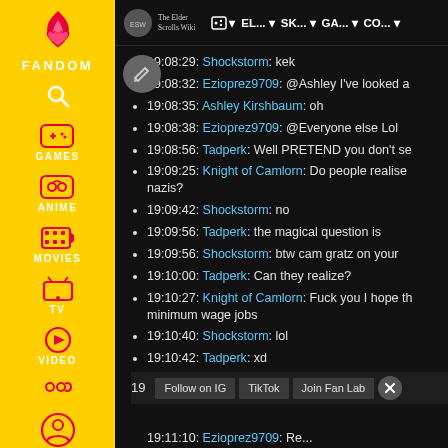[Figure (screenshot): Fandom sidebar with yellow background showing logo, FANDOM label, and navigation icons for GAMES, ANIME, MOVIES, TV, VIDEO, and profile]
The Elder Scrolls Wiki | AA | EL... | SK... | GA... | CO...
19:08:29: Shockstorm: kek
19:08:32: Ezioprez9709: @Ashley I've looked a
19:08:35: Ashley Kirshbaum: oh
19:08:38: Ezioprez9709: @Everyone else Lol
19:08:56: Tadperk: Well PRETEND you don't se
19:09:25: Knight of Camlorn: Do people realise nazis?
19:09:42: Shockstorm: no
19:09:56: Tadperk: the magical question is
19:09:56: Shockstorm: btw cam gratz on your
19:10:00: Tadperk: Can they realize?
19:10:27: Knight of Camlorn: Fuck you I hope th minimum wage jobs
19:10:40: Shockstorm: lol
19:10:42: Tadperk: xd
19 [Follow on IG] [TikTok] [Join Fan Lab] [X]
19:11:10: Ezioprez9709: Re...